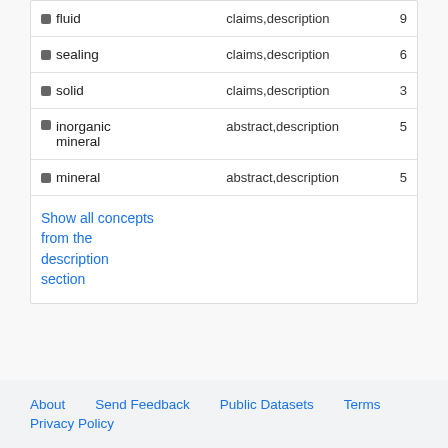| Concept | Sections | Count |
| --- | --- | --- |
| fluid | claims,description | 9 |
| sealing | claims,description | 6 |
| solid | claims,description | 3 |
| inorganic mineral | abstract,description | 5 |
| mineral | abstract,description | 5 |
Show all concepts from the description section
About   Send Feedback   Public Datasets   Terms
Privacy Policy